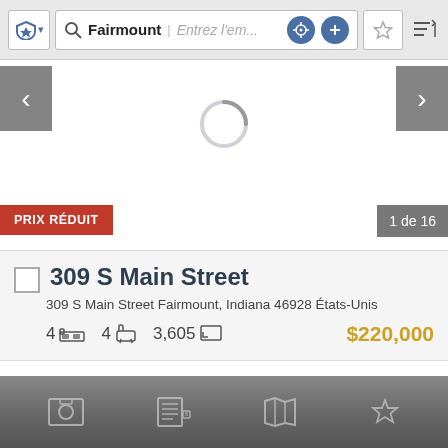[Figure (screenshot): Mobile real estate app top search bar with shield icon, search field showing 'Fairmount', placeholder 'Entrez l'em...', crosshair and plus icons, star and sort buttons]
[Figure (screenshot): Image carousel/slider area with left and right navigation arrows and a loading spinner in the center]
PRIX RÉDUIT
1 de 16
309 S Main Street
309 S Main Street Fairmount, Indiana 46928 États-Unis
4  4  3,605  $220,000
[Figure (screenshot): Bottom toolbar with photo, listing info, map icons and a star/favorite icon]